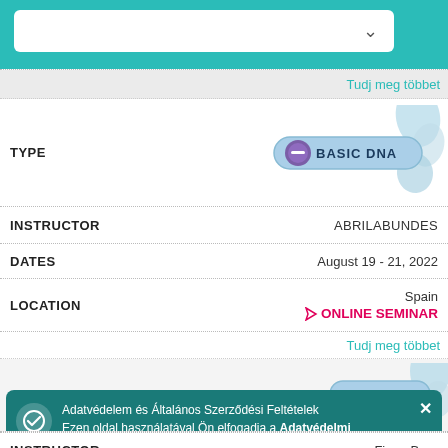[Figure (screenshot): Top teal navigation bar with white dropdown box and chevron arrow]
Tudj meg többet
TYPE
[Figure (logo): Basic DNA badge with DNA helix graphic]
INSTRUCTOR   ABRILABUNDES
DATES   August 19 - 21, 2022
LOCATION   Spain   ONLINE SEMINAR
Tudj meg többet
TYPE (partial second entry)
INSTRUCTOR   Fiona Baur
Adatvédelem és Általános Szerződési Feltételek Ezen oldal használatával Ön elfogadja a Adatvédelmi irányelvek és Szolgáltatás feltételei.